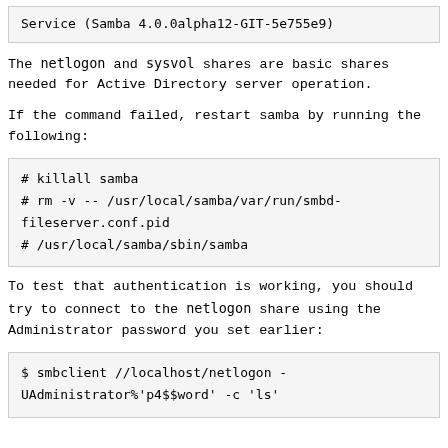Service (Samba 4.0.0alpha12-GIT-5e755e9)
The netlogon and sysvol shares are basic shares needed for Active Directory server operation.
If the command failed, restart samba by running the following:
# killall samba
# rm -v -- /usr/local/samba/var/run/smbd-fileserver.conf.pid
# /usr/local/samba/sbin/samba
To test that authentication is working, you should try to connect to the netlogon share using the Administrator password you set earlier:
$ smbclient //localhost/netlogon -UAdministrator%'p4$$word' -c 'ls'